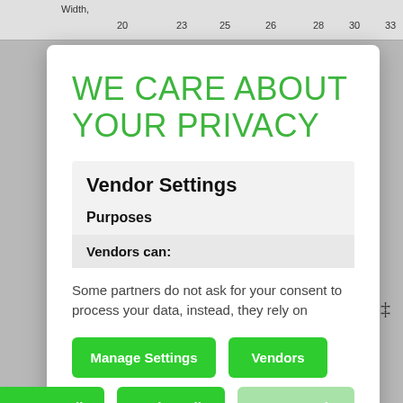Width, 20 23 25 26 28 30 33
WE CARE ABOUT YOUR PRIVACY
Vendor Settings
Purposes
Vendors can:
Some partners do not ask for your consent to process your data, instead, they rely on
Manage Settings
Vendors
Accept All
Reject All
Save & Exit